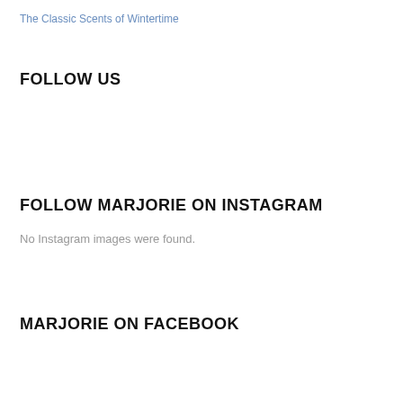The Classic Scents of Wintertime
FOLLOW US
FOLLOW MARJORIE ON INSTAGRAM
No Instagram images were found.
MARJORIE ON FACEBOOK